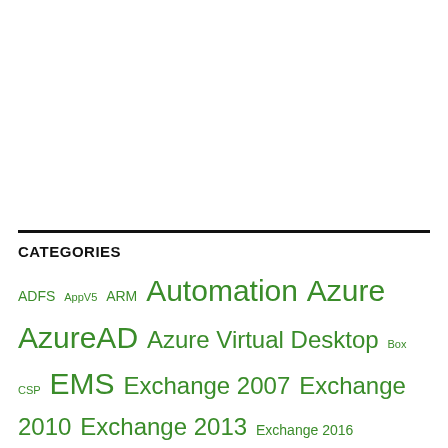CATEGORIES
ADFS AppV5 ARM Automation Azure AzureAD Azure Virtual Desktop Box CSP EMS Exchange 2007 Exchange 2010 Exchange 2013 Exchange 2016 Exchange Online home automation Identity Intune MDATP Microsoft Cloud App Security Microsoft Teams O365Datacleaner O365GroupSync O365Migrator O365Undo Office 365 Okta